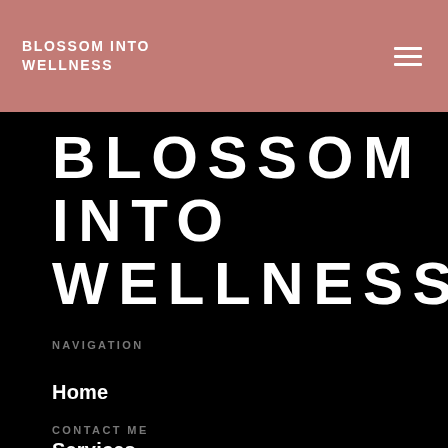BLOSSOM INTO WELLNESS
BLOSSOM INTO WELLNESS
NAVIGATION
Home
Services
Portfolio
Blog
Work with me
CONTACT ME